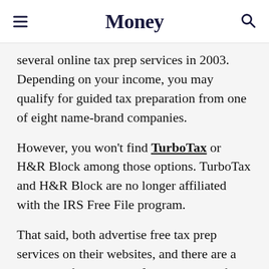Money
several online tax prep services in 2003. Depending on your income, you may qualify for guided tax preparation from one of eight name-brand companies.
However, you won't find TurboTax or H&R Block among those options. TurboTax and H&R Block are no longer affiliated with the IRS Free File program.
That said, both advertise free tax prep services on their websites, and there are a plethora of other tax software options for